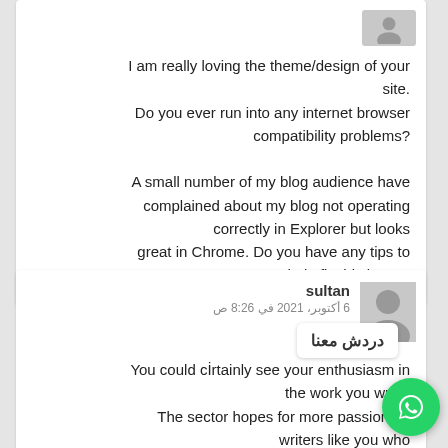I am really loving the theme/design of your site. Do you ever run into any internet browser compatibility problems? A small number of my blog audience have complained about my blog not operating correctly in Explorer but looks great in Chrome. Do you have any tips to help fix this issue?
sultan
6 أكتوبر، 2021 في 8:26 ص
You could cİrtainly see your enthusiasm in the work you write. The sector hopes for more passionate writers like you who aren't afraid to say time go after your heart.
دردش معنا